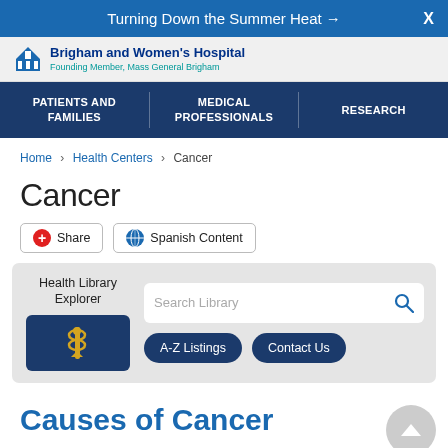Turning Down the Summer Heat →
[Figure (logo): Brigham and Women's Hospital logo with text: Brigham and Women's Hospital, Founding Member, Mass General Brigham]
PATIENTS AND FAMILIES | MEDICAL PROFESSIONALS | RESEARCH
Home > Health Centers > Cancer
Cancer
Share   Spanish Content
Health Library Explorer   Search Library   A-Z Listings   Contact Us
Causes of Cancer